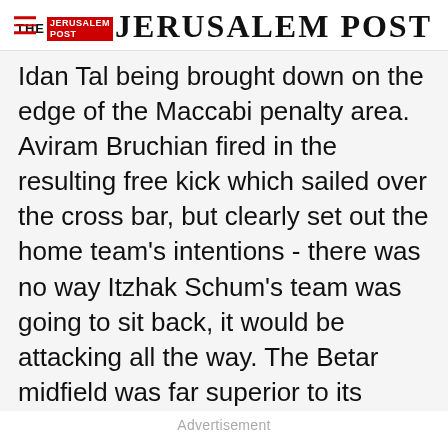THE JERUSALEM POST
Idan Tal being brought down on the edge of the Maccabi penalty area. Aviram Bruchian fired in the resulting free kick which sailed over the cross bar, but clearly set out the home team's intentions - there was no way Itzhak Schum's team was going to sit back, it would be attacking all the way. The Betar midfield was far superior to its opposition, with Tal and Gal Alberman first to nearly every ball, and Bruchian wrong footing the Maccabi players in the center of the park time
Advertisement